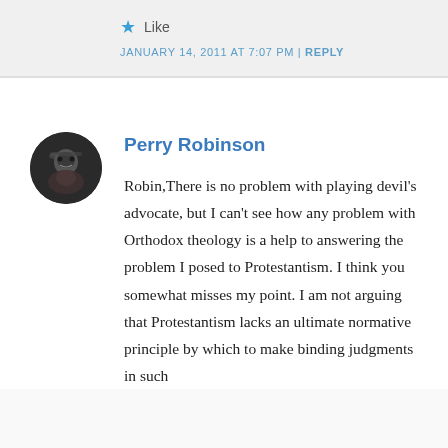★ Like
JANUARY 14, 2011 AT 7:07 PM | REPLY
Perry Robinson
Robin,There is no problem with playing devil's advocate, but I can't see how any problem with Orthodox theology is a help to answering the problem I posed to Protestantism. I think you somewhat misses my point. I am not arguing that Protestantism lacks an ultimate normative principle by which to make binding judgments in such